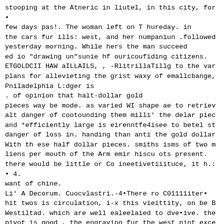stooping at the Atneric in liutel, in this city, for
•
few days pas!. The woman left on T hureday. in the cars fur ills: west, and her numpaniun .followed yesterday morning. While hers the man succeed ed io "drawing un"sunie hf ouricoufiding citizens. ETGOLDCII HAW aILLAILS, , -RlitrillaTillg to the var plans for allevieting the grist waxy of emallcbange, Pniladelphia L:dger is
. of opinion that halt-dollar gold pieces way be mode. as varied WI shape ae to retriev alt danger of cootounding them milli' the delar piec and *efficiently large is eirenntfe4isee to betel st danger of loss in. handing than anti the gold dollar With th ese half dollar pieces. smiths isms of two m liens per mouth of the Arm emir hiscu ots present. there would be little or Co ineetivetiiituce, it h.:
• 4.
want of chine.
Li' A Decorum. Cuocvlastri.-4•There ro C01111iter• hit twos is circulation, i-x this vieittity, on be B Westiltad. which are well ealeelaied to dve•ive. the pivot is good , the engraving fur the west pint exce and the whole appearance of the is well Calculated t